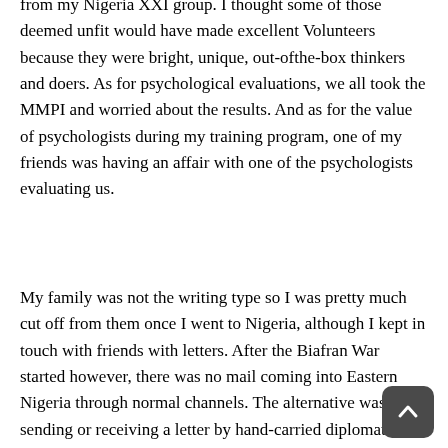from my Nigeria XXI group. I thought some of those deemed unfit would have made excellent Volunteers because they were bright, unique, out-ofthe-box thinkers and doers. As for psychological evaluations, we all took the MMPI and worried about the results. And as for the value of psychologists during my training program, one of my friends was having an affair with one of the psychologists evaluating us.
My family was not the writing type so I was pretty much cut off from them once I went to Nigeria, although I kept in touch with friends with letters. After the Biafran War started however, there was no mail coming into Eastern Nigeria through normal channels. The alternative was sending or receiving a letter by hand-carried diplomatic pouch (Enugu to Lagos round trip), that is if you could get the